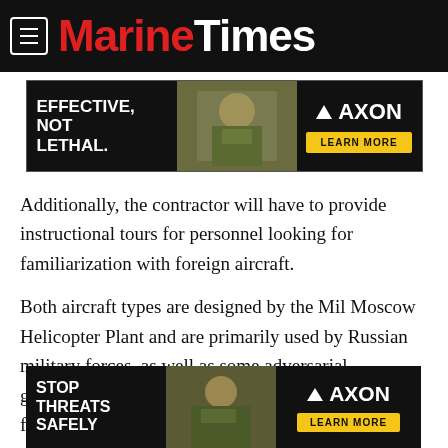Marine Corps Times
[Figure (illustration): AXON advertisement banner: 'EFFECTIVE, NOT LETHAL.' with soldier photo and AXON LEARN MORE button]
Additionally, the contractor will have to provide instructional tours for personnel looking for familiarization with foreign aircraft.
Both aircraft types are designed by the Mil Moscow Helicopter Plant and are primarily used by Russian military forces, as well as some adversarial governments like Cuba and North Korea. Many friendly governments, like Ukraine, Iraq and Afghanistan, also purchase the aircraft.
[Figure (illustration): AXON advertisement banner: 'STOP THREATS SAFELY' with soldier photo and AXON LEARN MORE button]